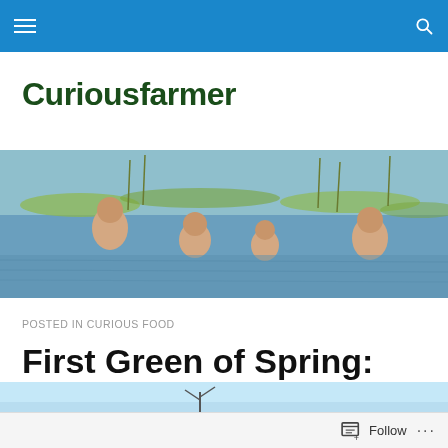Navigation bar with hamburger menu and search icon
Curiousfarmer
[Figure (photo): Outdoor photo of several shirtless people wading in a shallow marshy body of water with green aquatic vegetation visible in the background.]
POSTED IN CURIOUS FOOD
First Green of Spring: Stinging Nettle
[Figure (photo): Partial view of a photo with light blue sky and bare tree branches visible at the bottom of the page.]
Follow ...